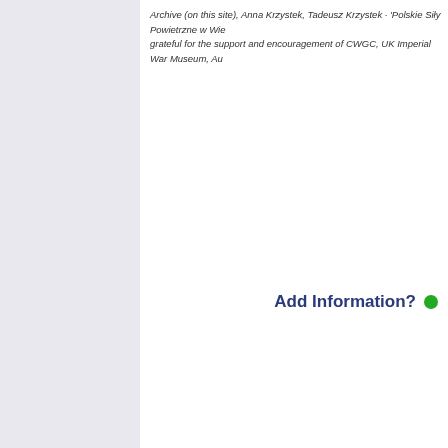Archive (on this site), Anna Krzystek, Tadeusz Krzystek · 'Polskie Siły Powietrzne w Wie grateful for the support and encouragement of CWGC, UK Imperial War Museum, Au
Add Information?
You can show you value
If you would like to comment on this page via publish your comment below with your first but not